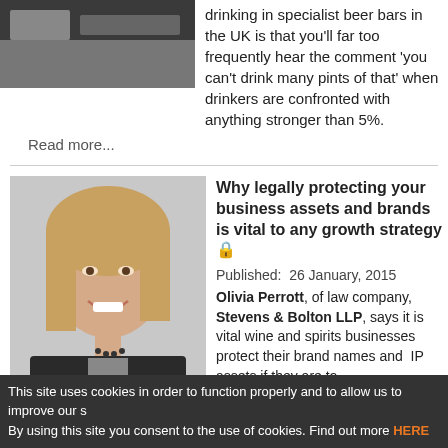[Figure (photo): Partial top image of beer/bar scene, cropped]
drinking in specialist beer bars in the UK is that you'll far too frequently hear the comment 'you can't drink many pints of that' when drinkers are confronted with anything stronger than 5%.
Read more...
[Figure (photo): Headshot of Olivia Perrott, a smiling blonde woman in a dark blazer]
Why legally protecting your business assets and brands is vital to any growth strategy 🔒
Published:  26 January, 2015
Olivia Perrott, of law company, Stevens & Bolton LLP, says it is vital wine and spirits businesses protect their brand names and  IP assets if they are to
This site uses cookies in order to function properly and to allow us to improve our s By using this site you consent to the use of cookies. Find out more HERE